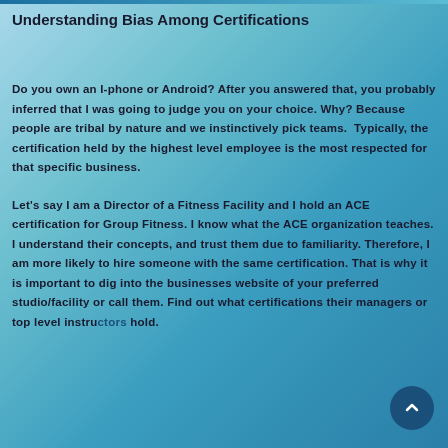Understanding Bias Among Certifications
Do you own an I-phone or Android? After you answered that, you probably inferred that I was going to judge you on your choice. Why? Because people are tribal by nature and we instinctively pick teams. Typically, the certification held by the highest level employee is the most respected for that specific business.
Let’s say I am a Director of a Fitness Facility and I hold an ACE certification for Group Fitness. I know what the ACE organization teaches. I understand their concepts, and trust them due to familiarity. Therefore, I am more likely to hire someone with the same certification. That is why it is important to dig into the businesses website of your preferred studio/facility or call them. Find out what certifications their managers or top level instructors hold.